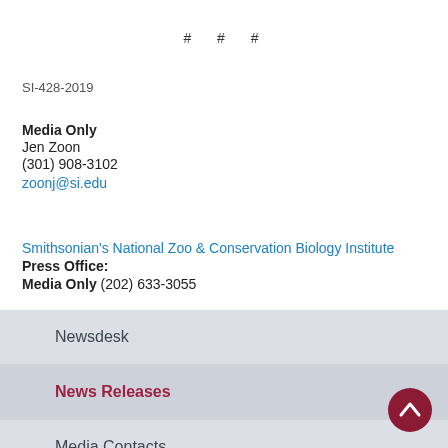# # #
SI-428-2019
Media Only
Jen Zoon
(301) 908-3102
zoonj@si.edu
Smithsonian's National Zoo & Conservation Biology Institute
Press Office:
Media Only (202) 633-3055
Newsdesk
News Releases
Media Contacts